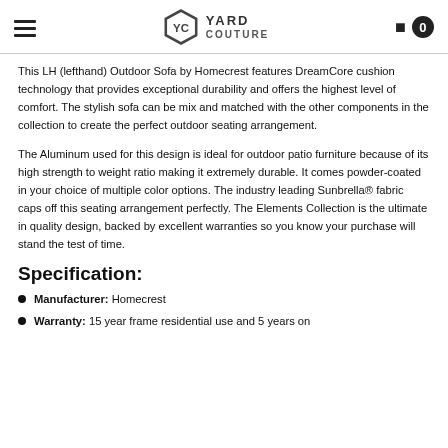Yard Couture
This LH (lefthand) Outdoor Sofa by Homecrest features DreamCore cushion technology that provides exceptional durability and offers the highest level of comfort. The stylish sofa can be mix and matched with the other components in the collection to create the perfect outdoor seating arrangement.
The Aluminum used for this design is ideal for outdoor patio furniture because of its high strength to weight ratio making it extremely durable. It comes powder-coated in your choice of multiple color options. The industry leading Sunbrella® fabric caps off this seating arrangement perfectly. The Elements Collection is the ultimate in quality design, backed by excellent warranties so you know your purchase will stand the test of time.
Specification:
Manufacturer: Homecrest
Warranty: 15 year frame residential use and 5 years on